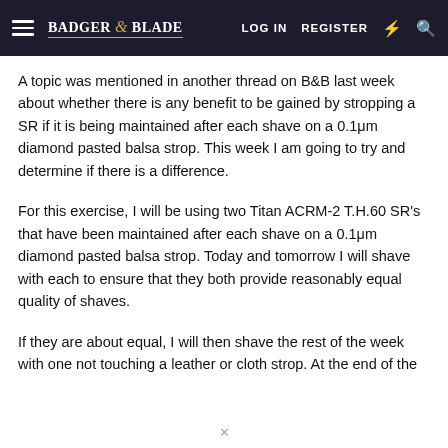Badger & Blade — LOG IN  REGISTER
A topic was mentioned in another thread on B&B last week about whether there is any benefit to be gained by stropping a SR if it is being maintained after each shave on a 0.1μm diamond pasted balsa strop. This week I am going to try and determine if there is a difference.
For this exercise, I will be using two Titan ACRM-2 T.H.60 SR's that have been maintained after each shave on a 0.1μm diamond pasted balsa strop. Today and tomorrow I will shave with each to ensure that they both provide reasonably equal quality of shaves.
If they are about equal, I will then shave the rest of the week with one not touching a leather or cloth strop. At the end of the